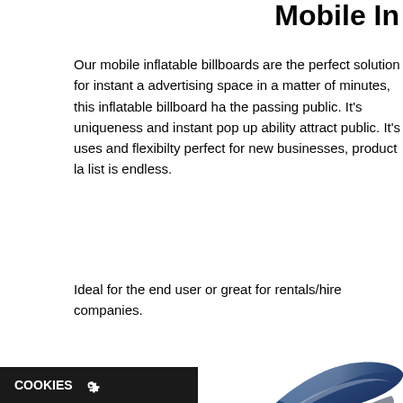Mobile I...
Our mobile inflatable billboards are the perfect solution for instant advertising space in a matter of minutes, this inflatable billboard ha... the passing public. It's uniqueness and instant pop up ability attract... public. It's uses and flexibilty perfect for new businesses, product la... list is endless.
Ideal for the end user or great for rentals/hire companies.
[Figure (photo): Photo of a blue inflatable billboard structure, partially visible, taken from above/side angle showing the top and front face of the inflatable billboard.]
COOKIES ⚙